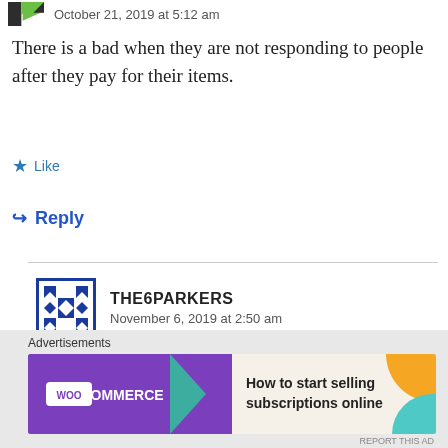October 21, 2019 at 5:12 am
There is a bad when they are not responding to people after they pay for their items.
★ Like
↪ Reply
THE6PARKERS
November 6, 2019 at 2:50 am
I'm really sorry to hear this. 😕
★ Like
[Figure (screenshot): WooCommerce advertisement banner: 'How to start selling subscriptions online']